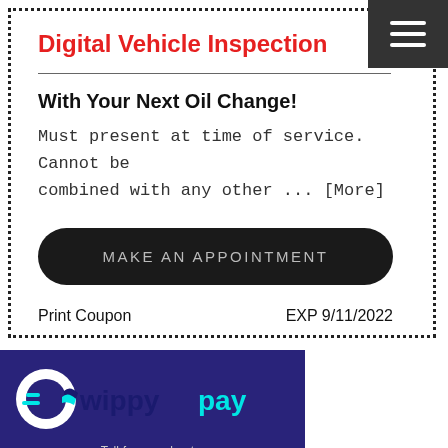Digital Vehicle Inspection
With Your Next Oil Change!
Must present at time of service. Cannot be combined with any other ... [More]
MAKE AN APPOINTMENT
Print Coupon
EXP 9/11/2022
[Figure (logo): WippyPay logo on dark purple background with cyan and dark blue text and swoosh graphic]